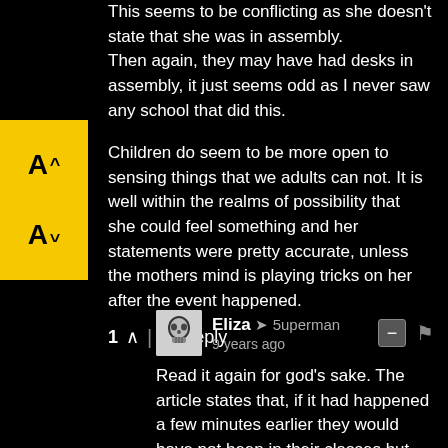This seems to be conflicting as she doesn't state that she was in assembly. Then again, they may have had desks in assembly, it just seems odd as I never saw any school that did this.

Children do seem to be more open to sensing things that we adults can not. It is well within the realms of possibility that she could feel something and her statements were pretty accurate, unless the mothers mind is playing tricks on her after the event happened.
1 ^ | v Reply
Eliza → 5uperman
9 years ago
Read it again for god's sake. The article states that, if it had happened a few minutes earlier they would have not been in their classes but either in assembly or on their way back and not on the side of the...